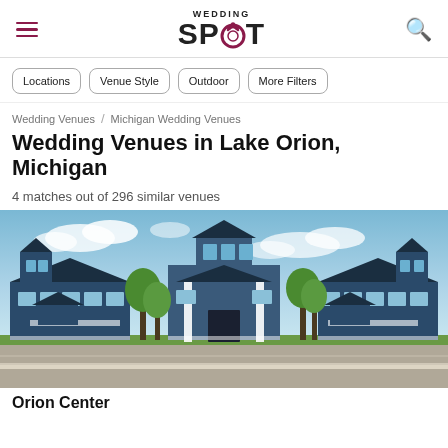Wedding Spot
Locations
Venue Style
Outdoor
More Filters
Wedding Venues / Michigan Wedding Venues
Wedding Venues in Lake Orion, Michigan
4 matches out of 296 similar venues
[Figure (photo): Exterior photo of Orion Center, a large navy blue building with white trim, a central white tower entrance, multiple dormers, and surrounding parking lot with trees under a blue sky.]
Orion Center